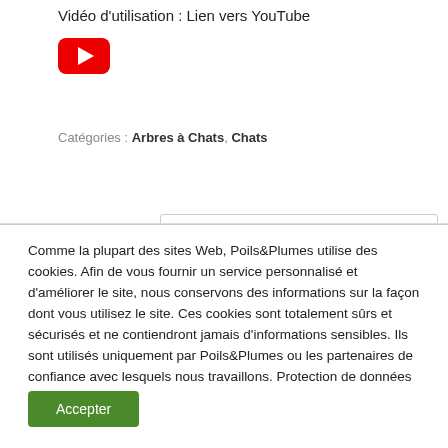Vidéo d'utilisation : Lien vers YouTube
[Figure (illustration): YouTube play button icon — red rounded rectangle with white triangle pointing right]
Catégories : Arbres à Chats, Chats
Comme la plupart des sites Web, Poils&Plumes utilise des cookies. Afin de vous fournir un service personnalisé et d'améliorer le site, nous conservons des informations sur la façon dont vous utilisez le site. Ces cookies sont totalement sûrs et sécurisés et ne contiendront jamais d'informations sensibles. Ils sont utilisés uniquement par Poils&Plumes ou les partenaires de confiance avec lesquels nous travaillons. Protection de données
Accepter